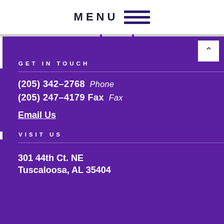MENU
GET IN TOUCH
(205) 342-2768 Phone
(205) 247-4179 Fax Fax
Email Us
VISIT US
301 44th Ct. NE
Tuscaloosa, AL 35404